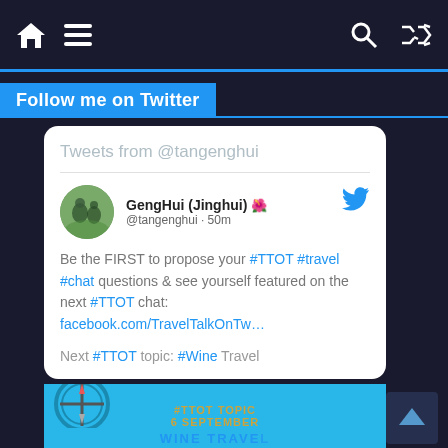Navigation bar with home, menu, search, and shuffle icons
Follow me on Twitter
[Figure (screenshot): Twitter widget showing tweets from @tangenghui. Tweet by GengHui (Jinghui) @tangenghui 50m: 'Be the FIRST to propose your #TTOT #travel #chat questions & see yourself featured on the next #TTOT chat: facebook.com/TravelTalkOnTw... Next #TTOT topic: #Wine Travel'. Below is a partial image showing #TTOT TOPIC 6 SEPTEMBER WINE TRAVEL on a blue background.]